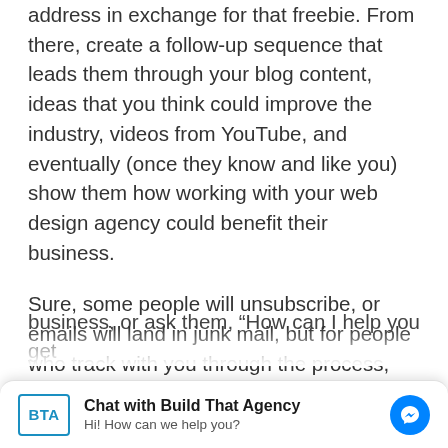address in exchange for that freebie. From there, create a follow-up sequence that leads them through your blog content, ideas that you think could improve the industry, videos from YouTube, and eventually (once they know and like you) show them how working with your web design agency could benefit their business.
Sure, some people will unsubscribe, or emails will land in junk mail, but for people who track with you through the process, they'll know who you are and what you do. When you hit a low spot in your business, you can send out an
[Figure (screenshot): Chat widget overlay: BTA logo on left, 'Chat with Build That Agency' bold title, 'Hi! How can we help you?' subtitle, blue Messenger icon on right]
business, or ask them, "How can I help you get